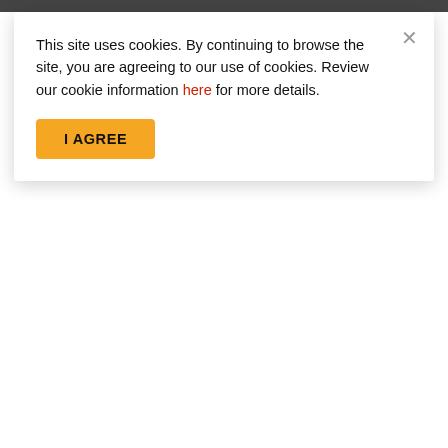This site uses cookies. By continuing to browse the site, you are agreeing to our use of cookies. Review our cookie information here for more details.
I AGREE
Fun & Mart Korean Grocery
We're sure you've been curious about the famous Samyang Instant Ramen. Well you can ask Fun & Mart Korean Grocery for stocks and other Korean products you might want to try. You can call Grab or Lalamove to pick up orders from their store.